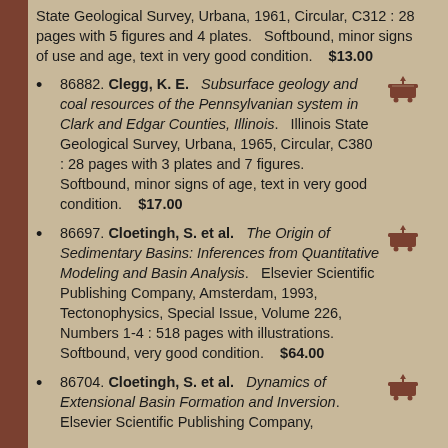State Geological Survey, Urbana, 1961, Circular, C312 : 28 pages with 5 figures and 4 plates.   Softbound, minor signs of use and age, text in very good condition.    $13.00
86882. Clegg, K. E.   Subsurface geology and coal resources of the Pennsylvanian system in Clark and Edgar Counties, Illinois.   Illinois State Geological Survey, Urbana, 1965, Circular, C380 : 28 pages with 3 plates and 7 figures.   Softbound, minor signs of age, text in very good condition.    $17.00
86697. Cloetingh, S. et al.   The Origin of Sedimentary Basins: Inferences from Quantitative Modeling and Basin Analysis.   Elsevier Scientific Publishing Company, Amsterdam, 1993, Tectonophysics, Special Issue, Volume 226, Numbers 1-4 : 518 pages with illustrations.   Softbound, very good condition.    $64.00
86704. Cloetingh, S. et al.   Dynamics of Extensional Basin Formation and Inversion.   Elsevier Scientific Publishing Company...